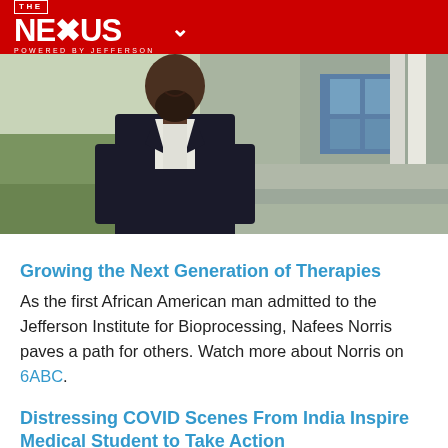THE NEXUS POWERED BY JEFFERSON
[Figure (photo): A man in a dark suit and white dress shirt standing outdoors in front of a building with stone and glass facade.]
Growing the Next Generation of Therapies
As the first African American man admitted to the Jefferson Institute for Bioprocessing, Nafees Norris paves a path for others. Watch more about Norris on 6ABC.
Distressing COVID Scenes From India Inspire Medical Student to Take Action